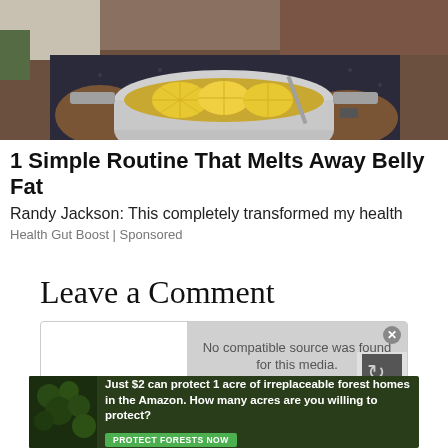[Figure (photo): Person holding a pot with lemon slices in liquid]
1 Simple Routine That Melts Away Belly Fat
Randy Jackson: This completely transformed my health
Health Gut Boost | Sponsored
Leave a Comment
[Figure (screenshot): Video overlay with message: No compatible source was found for this media.]
[Figure (photo): Forest advertisement: Just $2 can protect 1 acre of irreplaceable forest homes in the Amazon. How many acres are you willing to protect? PROTECT FORESTS NOW]